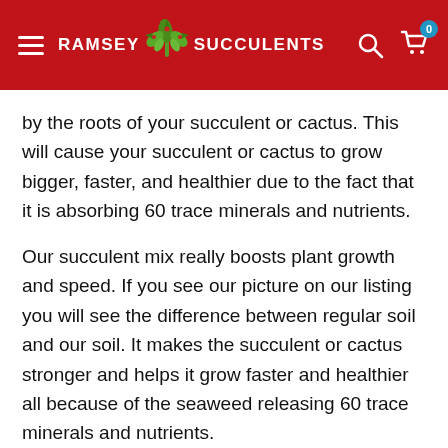RAMSEY SUCCULENTS
by the roots of your succulent or cactus. This will cause your succulent or cactus to grow bigger, faster, and healthier due to the fact that it is absorbing 60 trace minerals and nutrients.
Our succulent mix really boosts plant growth and speed. If you see our picture on our listing you will see the difference between regular soil and our soil. It makes the succulent or cactus stronger and helps it grow faster and healthier all because of the seaweed releasing 60 trace minerals and nutrients.